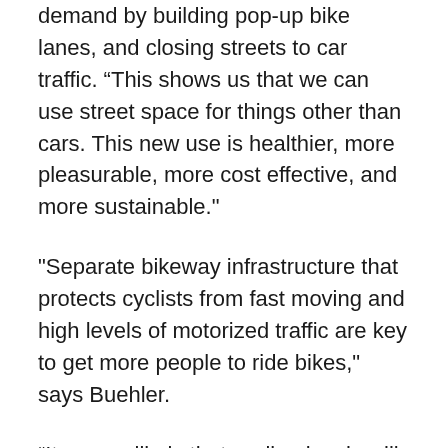demand by building pop-up bike lanes, and closing streets to car traffic. “This shows us that we can use street space for things other than cars. This new use is healthier, more pleasurable, more cost effective, and more sustainable."
"Separate bikeway infrastructure that protects cyclists from fast moving and high levels of motorized traffic are key to get more people to ride bikes," says Buehler.
“It seems likely that cycling levels will remain higher in the coming years due to new